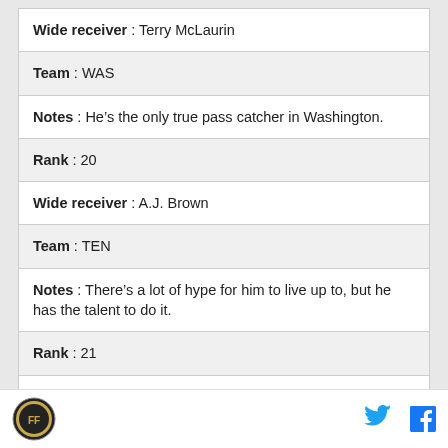| Wide receiver : Terry McLaurin |
| Team : WAS |
| Notes : He’s the only true pass catcher in Washington. |
| Rank : 20 |
| Wide receiver : A.J. Brown |
| Team : TEN |
| Notes : There’s a lot of hype for him to live up to, but he has the talent to do it. |
| Rank : 21 |
| Wide receiver : Deebo Samuel |
| Team : SF |
Logo | Twitter | Facebook